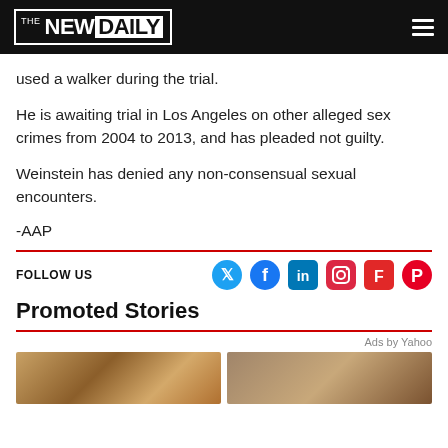THE NEW DAILY
used a walker during the trial.
He is awaiting trial in Los Angeles on other alleged sex crimes from 2004 to 2013, and has pleaded not guilty.
Weinstein has denied any non-consensual sexual encounters.
-AAP
FOLLOW US
Promoted Stories
Ads by Yahoo